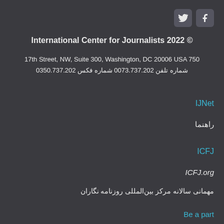[Figure (logo): Twitter and Facebook social media icons in rounded square buttons]
International Center for Journalists 2022 ©
17th Street, NW, Suite 300, Washington, DC 20006 USA 750
شماره تلفن 202.737.3700 شماره فکس 202.737.0530
IJNet
راهنما
ICFJ
ICFJ.org
مهمانی سالانه مرکز بین‌المللی روزنامه نگاران
Be a part